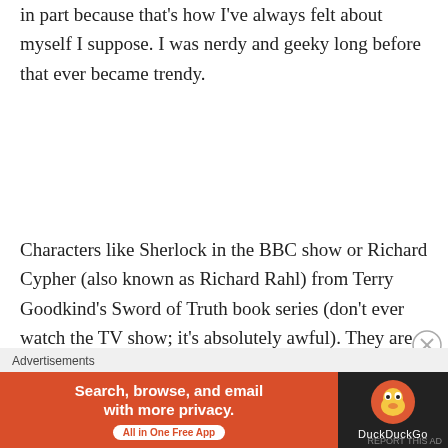in part because that's how I've always felt about myself I suppose. I was nerdy and geeky long before that ever became trendy.
Characters like Sherlock in the BBC show or Richard Cypher (also known as Richard Rahl) from Terry Goodkind's Sword of Truth book series (don't ever watch the TV show; it's absolutely awful). They are safe fantasies that cannot be fulfilled and pose no threat to your real life. They are far less likely to break your heart, too.
[Figure (other): DuckDuckGo advertisement banner: orange left panel with text 'Search, browse, and email with more privacy. All in One Free App' and dark right panel with DuckDuckGo duck logo and brand name.]
REPORT THIS AD